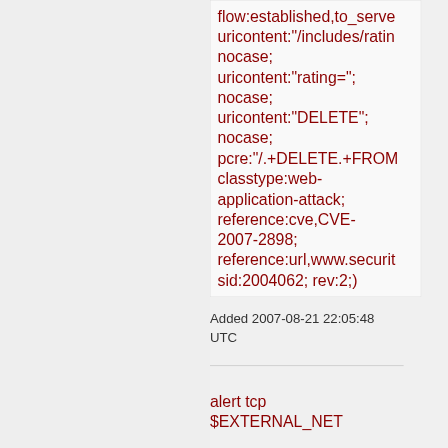flow:established,to_server; uricontent:"/includes/rating"; nocase; uricontent:"rating="; nocase; uricontent:"DELETE"; nocase; pcre:"/.+DELETE.+FROM classtype:web-application-attack; reference:cve,CVE-2007-2898; reference:url,www.security sid:2004062; rev:2;)
Added 2007-08-21 22:05:48 UTC
alert tcp $EXTERNAL_NET